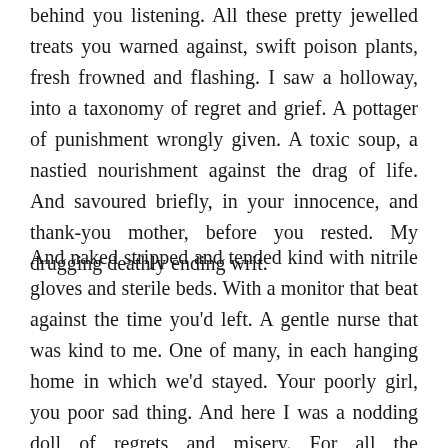behind you listening. All these pretty jewelled treats you warned against, swift poison plants, fresh frowned and flashing. I saw a holloway, into a taxonomy of regret and grief. A pottager of punishment wrongly given. A toxic soup, a nastied nourishment against the drag of life. And savoured briefly, in your innocence, and thank-you mother, before you rested. My drugging deathly ending writ.
And naked stripped and tended kind with nitrile gloves and sterile beds. With a monitor that beat against the time you'd left. A gentle nurse that was kind to me. One of many, in each hanging home in which we'd stayed. Your poorly girl, you poor sad thing. And here I was a nodding doll of regrets and misery. For all the impossible wringing days of loss I'd calculated at your